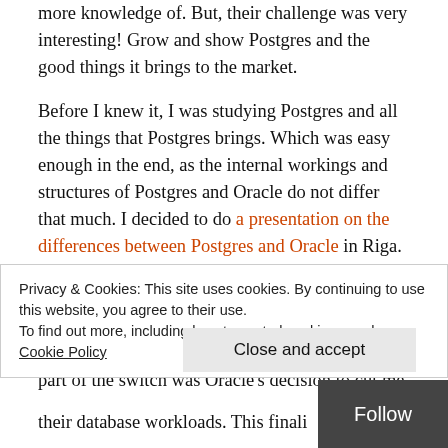more knowledge of. But, their challenge was very interesting! Grow and show Postgres and the good things it brings to the market.
Before I knew it, I was studying Postgres and all the things that Postgres brings. Which was easy enough in the end, as the internal workings and structures of Postgres and Oracle do not differ that much. I decided to do a presentation on the differences between Postgres and Oracle in Riga. I was kindly accepted by the committee even when I told them, my original submission had changed! A very good experience, even today, but with an unaccepted consequence. -> The second part of the switch was Oracle's decision to cut me out of the Oracle ACF program.
Privacy & Cookies: This site uses cookies. By continuing to use this website, you agree to their use. To find out more, including how to control cookies, see here: Cookie Policy
Close and accept
their database workloads. This finalized  the swit…
Follow